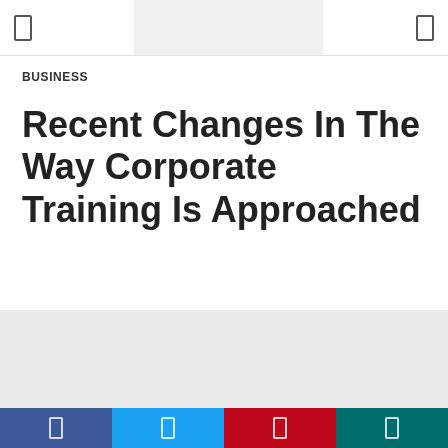BUSINESS
Recent Changes In The Way Corporate Training Is Approached
[Figure (photo): Gray placeholder image area for article photo]
Social share buttons: Facebook, Twitter, Pinterest, Email